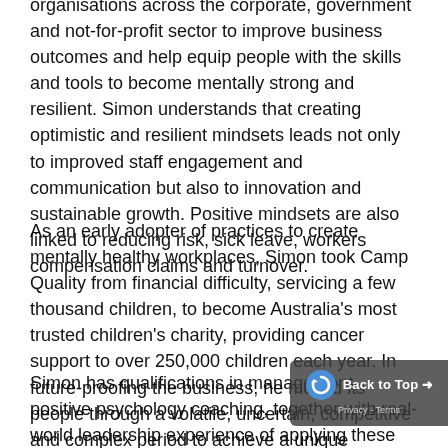organisations across the corporate, government and not-for-profit sector to improve business outcomes and help equip people with the skills and tools to become mentally strong and resilient. Simon understands that creating optimistic and resilient mindsets leads not only to improved staff engagement and communication but also to innovation and sustainable growth. Positive mindsets are also linked to reducing risk, sick leave, workers compensation claims and turnover.
As an early adopter of practices to create mentally healthy workplaces, Simon took Camp Quality from financial difficulty, servicing a few thousand children, to become Australia's most trusted children's charity, providing cancer support to over 250,000 children each year. In future-proofing the business, he moved its people through a volatile, uncertain, competitive and complex period to achieve a unique organisational culture built around resilience, optimism, engagement and change ready behaviours.
Simon has qualifications in management, positive psychology coaching, together with real-world leadership experience of applying these methods in organisations. He is uniquely equipped